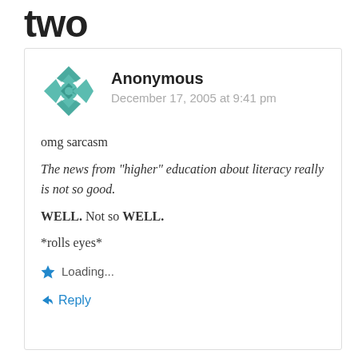two
Anonymous
December 17, 2005 at 9:41 pm
omg sarcasm
The news from "higher" education about literacy really is not so good.
WELL. Not so WELL.
*rolls eyes*
Loading...
Reply